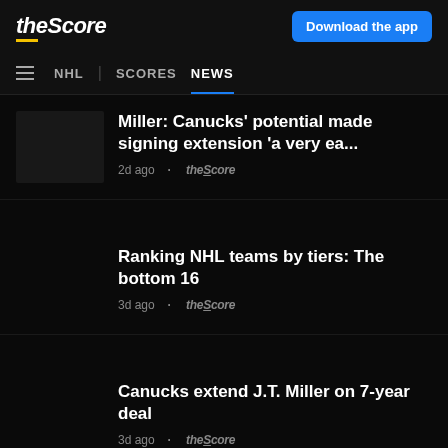theScore | Download the app
NHL | SCORES  NEWS
Miller: Canucks' potential made signing extension 'a very ea... 2d ago • theScore
Ranking NHL teams by tiers: The bottom 16 3d ago • theScore
Canucks extend J.T. Miller on 7-year deal 3d ago • theScore